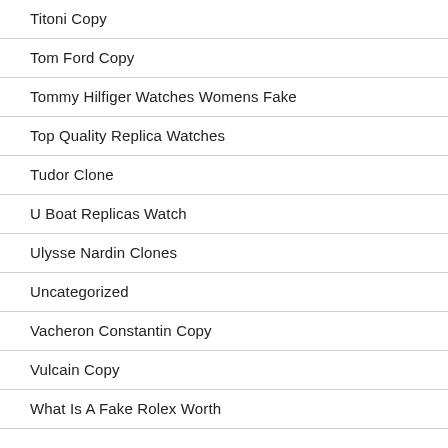Titoni Copy
Tom Ford Copy
Tommy Hilfiger Watches Womens Fake
Top Quality Replica Watches
Tudor Clone
U Boat Replicas Watch
Ulysse Nardin Clones
Uncategorized
Vacheron Constantin Copy
Vulcain Copy
What Is A Fake Rolex Worth